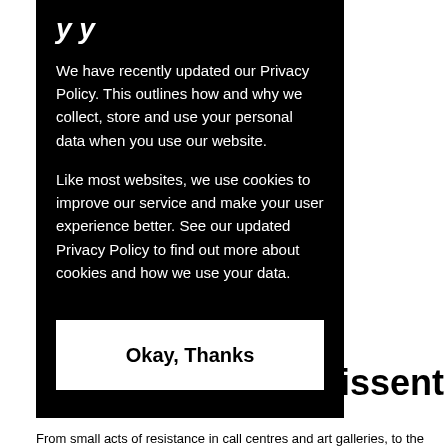We have recently updated our Privacy Policy. This outlines how and why we collect, store and use your personal data when you use our website.
Like most websites, we use cookies to improve our service and make your user experience better. See our updated Privacy Policy to find out more about cookies and how we use your data.
Okay, Thanks
d Dissent
From small acts of resistance in call centres and art galleries, to the